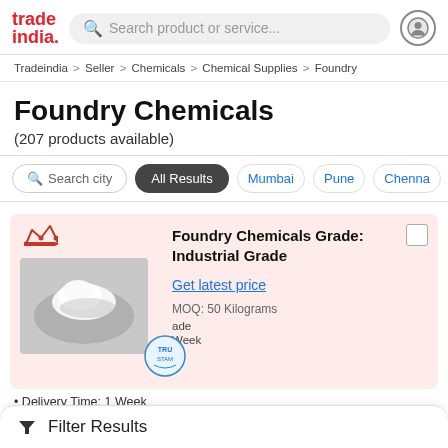[Figure (logo): TradeIndia logo — red text reading 'trade' and 'india.' stacked]
Search product or service...
Tradeindia > Seller > Chemicals > Chemical Supplies > Foundry
Foundry Chemicals
(207 products available)
Search city
All Results
Mumbai
Pune
Chenna
Foundry Chemicals Grade: Industrial Grade
Get latest price
MOQ: 50 Kilograms
Filter Results